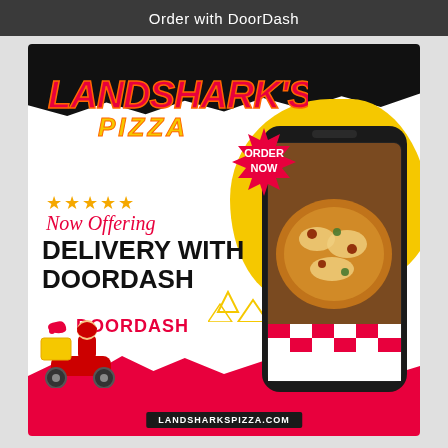Order with DoorDash
[Figure (advertisement): Landshark's Pizza DoorDash delivery advertisement. Features the Landshark's Pizza logo at top on black splatter background, five gold stars, 'Now Offering' in red script, 'DELIVERY WITH DOORDASH' in large bold black text, DoorDash logo in red, a smartphone showing a pizza photo, an 'ORDER NOW' red badge, a delivery guy illustration on a red scooter at bottom left, red wave at the bottom, and the website landsharkspizza.com at the bottom center.]
LANDSHARKSPIZZA.COM